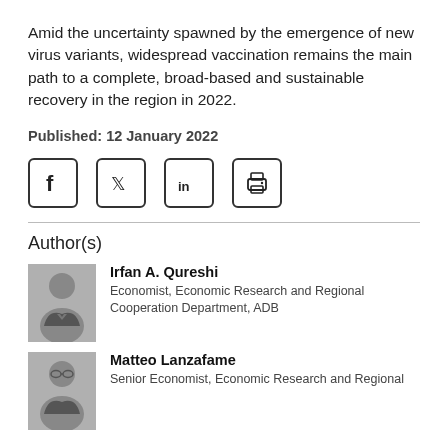Amid the uncertainty spawned by the emergence of new virus variants, widespread vaccination remains the main path to a complete, broad-based and sustainable recovery in the region in 2022.
Published: 12 January 2022
[Figure (infographic): Social media sharing icons: Facebook, Twitter, LinkedIn, and Print]
Author(s)
[Figure (photo): Headshot photo of Irfan A. Qureshi]
Irfan A. Qureshi
Economist, Economic Research and Regional Cooperation Department, ADB
[Figure (photo): Headshot photo of Matteo Lanzafame]
Matteo Lanzafame
Senior Economist, Economic Research and Regional Cooperation Department, ADB